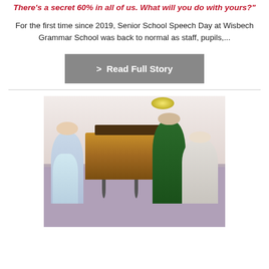There's a secret 60% in all of us. What will you do with yours?
For the first time since 2019, Senior School Speech Day at Wisbech Grammar School was back to normal as staff, pupils,...
> Read Full Story
[Figure (photo): Photo of people wearing face masks standing around an upright wooden piano in an indoor hallway. Two females (one adult, one child) are on the left, a man in a green top stands behind the piano on the right, and an elderly woman stands to the far right.]